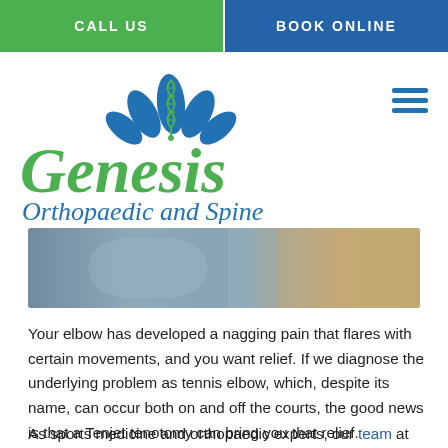CALL US | BOOK ONLINE
[Figure (logo): Genesis Orthopaedic and Spine logo with blue lotus flower and green DNA helix]
[Figure (photo): Blurred close-up photo of a person's elbow or arm area]
Your elbow has developed a nagging pain that flares with certain movements, and you want relief. If we diagnose the underlying problem as tennis elbow, which, despite its name, can occur both on and off the courts, the good news is that a Tenjet tenotomy can bring you that relief.
As sports medicine and orthopaedic experts, our team at Genesis Orthopaedic and Spine knows exactly how